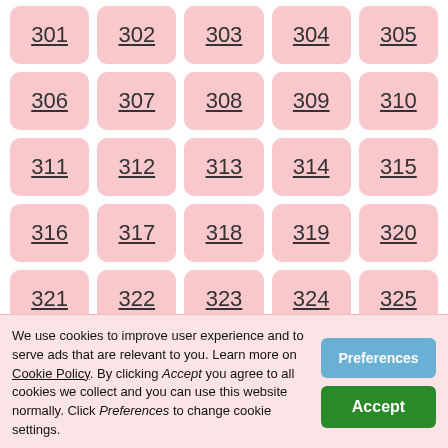301 302 303 304 305
306 307 308 309 310
311 312 313 314 315
316 317 318 319 320
321 322 323 324 325
326 327 328 329 330
331 332 333 334 335 336 337 338 339 340
We use cookies to improve user experience and to serve ads that are relevant to you. Learn more on Cookie Policy. By clicking Accept you agree to all cookies we collect and you can use this website normally. Click Preferences to change cookie settings.